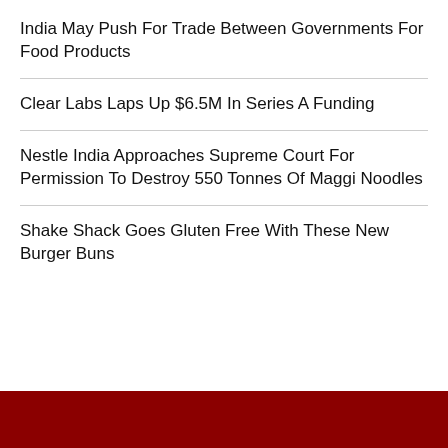India May Push For Trade Between Governments For Food Products
Clear Labs Laps Up $6.5M In Series A Funding
Nestle India Approaches Supreme Court For Permission To Destroy 550 Tonnes Of Maggi Noodles
Shake Shack Goes Gluten Free With These New Burger Buns